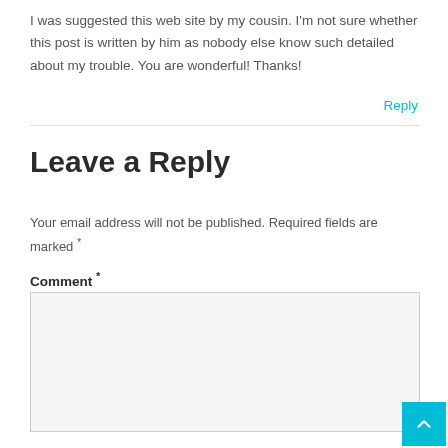I was suggested this web site by my cousin. I'm not sure whether this post is written by him as nobody else know such detailed about my trouble. You are wonderful! Thanks!
Reply
Leave a Reply
Your email address will not be published. Required fields are marked *
Comment *